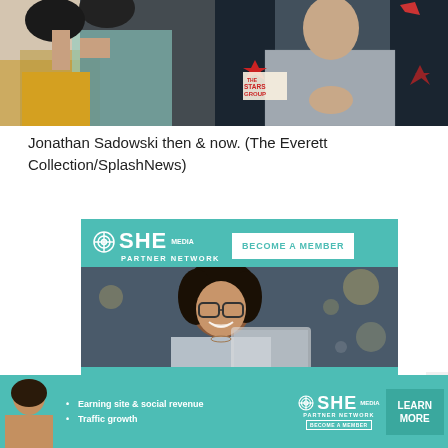[Figure (photo): Two photos side by side: left shows a person with dark hair from behind, another person in yellow/dark outfit; right shows a man in grey checked blazer at The Stars Group event]
Jonathan Sadowski then & now. (The Everett Collection/SplashNews)
[Figure (infographic): SHE Media Partner Network advertisement banner with 'BECOME A MEMBER' button, photo of smiling woman with glasses and laptop, and headline 'WE HELP CONTENT CREATORS GROW BUSINESSES THROUGH']
[Figure (infographic): SHE Media Partner Network bottom bar ad with bullet points: Earning site & social revenue, Traffic growth. Includes SHE logo, LEARN MORE button.]